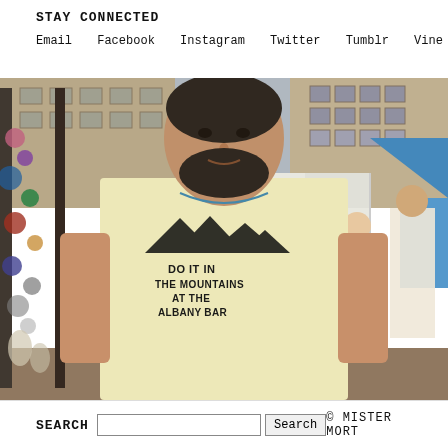STAY CONNECTED
Email   Facebook   Instagram   Twitter   Tumblr   Vine   Store
[Figure (photo): A young man with a beard wearing a light yellow t-shirt that reads 'DO IT IN THE MOUNTAINS AT THE ALBANY BAR', standing at an outdoor market or street fair with vendor tents, jewelry displays, and people in the background.]
SEARCH  [search box]  Search  © MISTER MORT